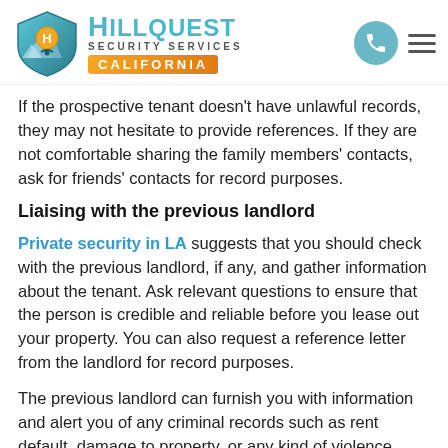[Figure (logo): HillQuest Security Services California logo with shield icon, teal phone button, and hamburger menu]
If the prospective tenant doesn't have unlawful records, they may not hesitate to provide references. If they are not comfortable sharing the family members' contacts, ask for friends' contacts for record purposes.
Liaising with the previous landlord
Private security in LA suggests that you should check with the previous landlord, if any, and gather information about the tenant. Ask relevant questions to ensure that the person is credible and reliable before you lease out your property. You can also request a reference letter from the landlord for record purposes.
The previous landlord can furnish you with information and alert you of any criminal records such as rent default, damage to property, or any kind of violence. Therefore can make informed decisions and avoid any fraudulent...